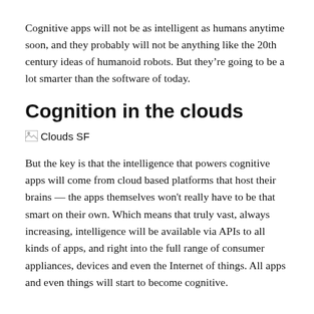Cognitive apps will not be as intelligent as humans anytime soon, and they probably will not be anything like the 20th century ideas of humanoid robots. But they’re going to be a lot smarter than the software of today.
Cognition in the clouds
[Figure (photo): Broken image placeholder labeled 'Clouds SF']
But the key is that the intelligence that powers cognitive apps will come from cloud based platforms that host their brains — the apps themselves won't really have to be that smart on their own. Which means that truly vast, always increasing, intelligence will be available via APIs to all kinds of apps, and right into the full range of consumer appliances, devices and even the Internet of things. All apps and even things will start to become cognitive.